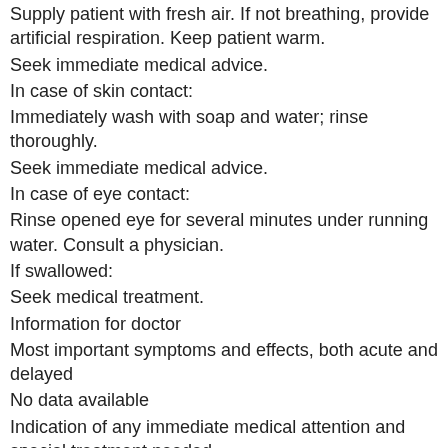Supply patient with fresh air. If not breathing, provide artificial respiration. Keep patient warm.
Seek immediate medical advice.
In case of skin contact:
Immediately wash with soap and water; rinse thoroughly.
Seek immediate medical advice.
In case of eye contact:
Rinse opened eye for several minutes under running water. Consult a physician.
If swallowed:
Seek medical treatment.
Information for doctor
Most important symptoms and effects, both acute and delayed
No data available
Indication of any immediate medical attention and special treatment needed